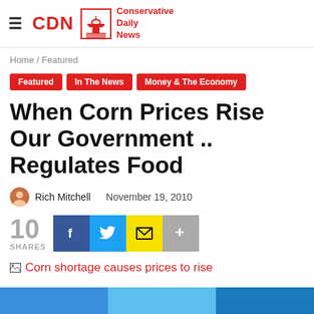CDN Conservative Daily News
Home / Featured
Featured
In The News
Money & The Economy
When Corn Prices Rise Our Government .. Regulates Food
Rich Mitchell   November 19, 2010
10 SHARES
[Figure (screenshot): Broken image placeholder with alt text: Corn shortage causes prices to rise]